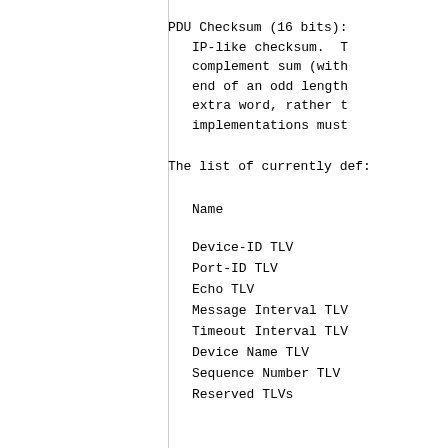PDU Checksum (16 bits):
        IP-like checksum. T
        complement sum (with
        end of an odd length
        extra word, rather t
        implementations must
The list of currently def:
| Name |
| --- |
| Device-ID TLV |
| Port-ID TLV |
| Echo TLV |
| Message Interval TLV |
| Timeout Interval TLV |
| Device Name TLV |
| Sequence Number TLV |
| Reserved TLVs |